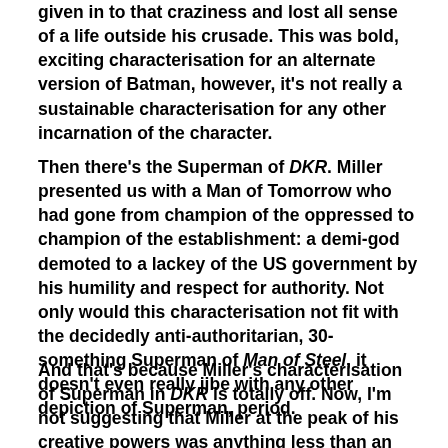given in to that craziness and lost all sense of a life outside his crusade. This was bold, exciting characterisation for an alternate version of Batman, however, it's not really a sustainable characterisation for any other incarnation of the character.
Then there's the Superman of DKR. Miller presented us with a Man of Tomorrow who had gone from champion of the oppressed to champion of the establishment: a demi-god demoted to a lackey of the US government by his humility and respect for authority. Not only would this characterisation not fit with the decidedly anti-authoritarian, 30-something Superman of Man of Steel, it doesn't even really jibe with any other depiction of Superman, period.
And that's because Miller's characterisation of Superman in DKR is totally off. Now, I'm not suggesting that Miller at the peak of his creative powers was anything less than an insanely talented writer, nor that this portrayal of Superman as a stooge